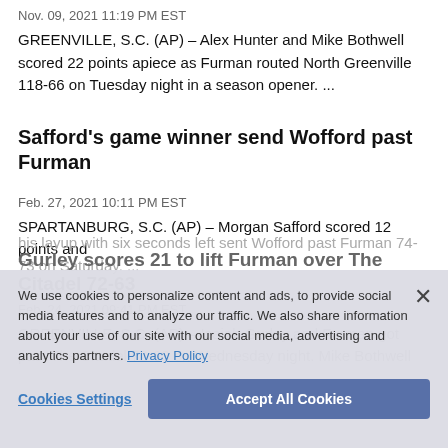Nov. 09, 2021 11:19 PM EST
GREENVILLE, S.C. (AP) – Alex Hunter and Mike Bothwell scored 22 points apiece as Furman routed North Greenville 118-66 on Tuesday night in a season opener. ...
Safford's game winner send Wofford past Furman
Feb. 27, 2021 10:11 PM EST
SPARTANBURG, S.C. (AP) – Morgan Safford scored 12 points and his layup with six seconds left sent Wofford past Furman 74-73 on Saturday. ...
Gurley scores 21 to lift Furman over The Citadel 72-63
Feb. 24, 2021 09:41 PM EST
GREENVILLE, S.C. (AP) – Isaiah Gurley and Furman got past The Citadel 72-63 on Wednesday night. Mike Bothwell
We use cookies to personalize content and ads, to provide social media features and to analyze our traffic. We also share information about your use of our site with our social media, advertising and analytics partners. Privacy Policy
Cookies Settings
Accept All Cookies